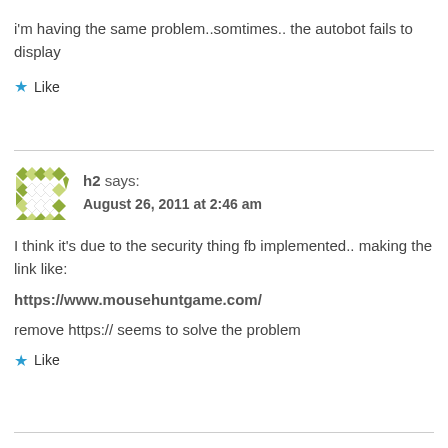i'm having the same problem..somtimes.. the autobot fails to display
★ Like
h2 says:
August 26, 2011 at 2:46 am
I think it's due to the security thing fb implemented.. making the link like:
https://www.mousehuntgame.com/
remove https:// seems to solve the problem
★ Like